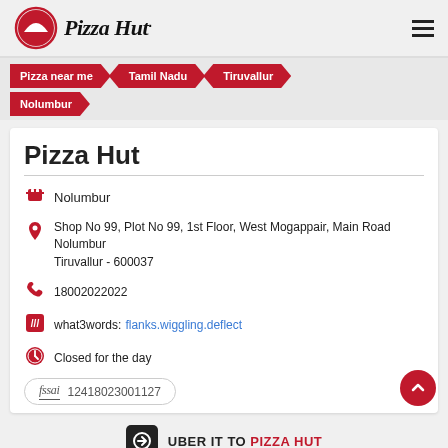[Figure (logo): Pizza Hut logo with red circle and pizza slice icon, and Pizza Hut wordmark in black italic]
Pizza near me
Tamil Nadu
Tiruvallur
Nolumbur
Pizza Hut
Nolumbur
Shop No 99, Plot No 99, 1st Floor, West Mogappair, Main Road
Nolumbur
Tiruvallur - 600037
18002022022
what3words: flanks.wiggling.deflect
Closed for the day
fssai 12418023001127
UBER IT TO PIZZA HUT